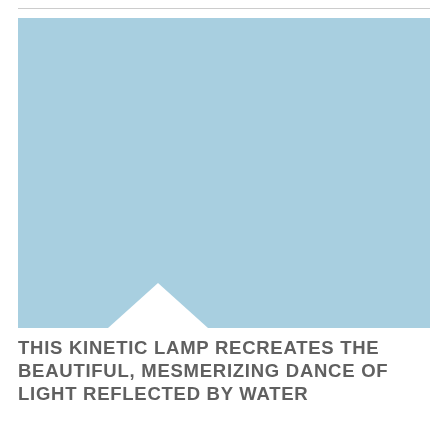[Figure (photo): Large light blue rectangular image placeholder with a small white upward-pointing triangle/arrow shape near the bottom-left corner of the image]
THIS KINETIC LAMP RECREATES THE BEAUTIFUL, MESMERIZING DANCE OF LIGHT REFLECTED BY WATER